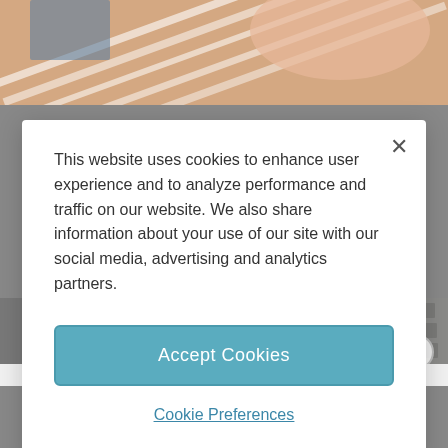[Figure (screenshot): Background webpage with photo of clothing/fabric at top and a child/person photo at bottom, partially obscured by modal dialog]
This website uses cookies to enhance user experience and to analyze performance and traffic on our website. We also share information about your use of our site with our social media, advertising and analytics partners.
Accept Cookies
Cookie Preferences
ADVERTISEMENT
Tailored ad management solutions for every publisher